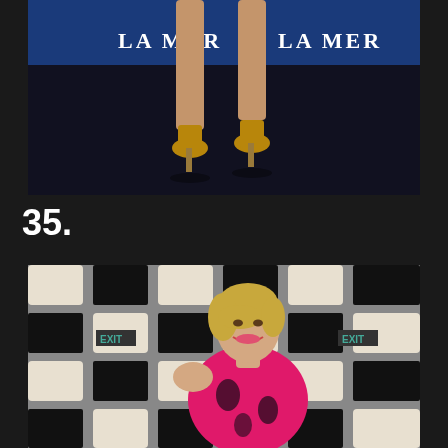[Figure (photo): Close-up photo of a woman's legs wearing high heel shoes at what appears to be a La Mer event, with blue banner visible in background showing 'LA MER' text repeated]
35.
[Figure (photo): Photo of a smiling blonde woman in a pink and black floral dress, posed in front of a black and white checkered lattice/fence backdrop with EXIT signs visible]